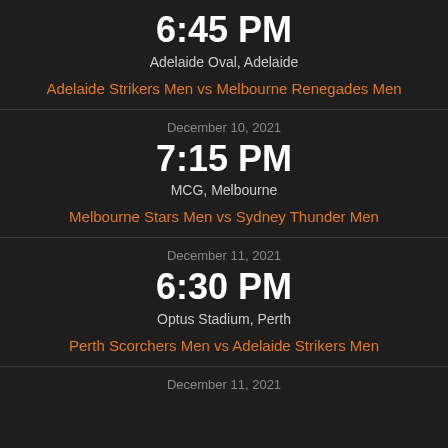6:45 PM
Adelaide Oval, Adelaide
Adelaide Strikers Men vs Melbourne Renegades Men
December 10, 2021
7:15 PM
MCG, Melbourne
Melbourne Stars Men vs Sydney Thunder Men
December 11, 2021
6:30 PM
Optus Stadium, Perth
Perth Scorchers Men vs Adelaide Strikers Men
December 11, 2021